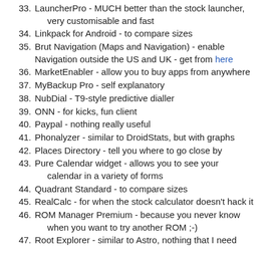33. LauncherPro - MUCH better than the stock launcher, very customisable and fast
34. Linkpack for Android - to compare sizes
35. Brut Navigation (Maps and Navigation) - enable Navigation outside the US and UK - get from here
36. MarketEnabler - allow you to buy apps from anywhere
37. MyBackup Pro - self explanatory
38. NubDial - T9-style predictive dialler
39. ONN - for kicks, fun client
40. Paypal - nothing really useful
41. Phonalyzer - similar to DroidStats, but with graphs
42. Places Directory - tell you where to go close by
43. Pure Calendar widget - allows you to see your calendar in a variety of forms
44. Quadrant Standard - to compare sizes
45. RealCalc - for when the stock calculator doesn't hack it
46. ROM Manager Premium - because you never know when you want to try another ROM ;-)
47. Root Explorer - similar to Astro, nothing that I need